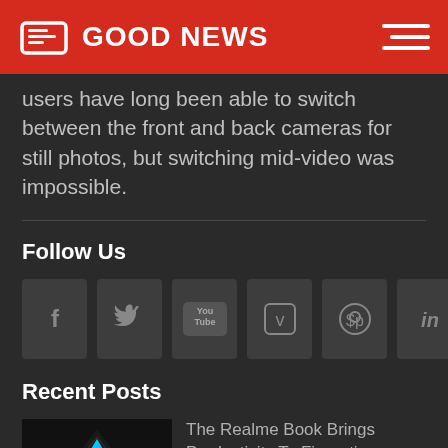GOOD NEWS
users have long been able to switch between the front and back cameras for still photos, but switching mid-video was impossible.
Follow Us
[Figure (infographic): Six social media icon buttons: Facebook (f), Twitter (bird), YouTube (You/Tube), Vimeo (v), Pinterest (p), LinkedIn (in)]
Recent Posts
[Figure (photo): A colorful laptop/notebook device with a holographic or rainbow-reflective lid, on a dark background. Thumbnail for recent post.]
The Realme Book Brings Productivity To Fingertips
June 23, 2022